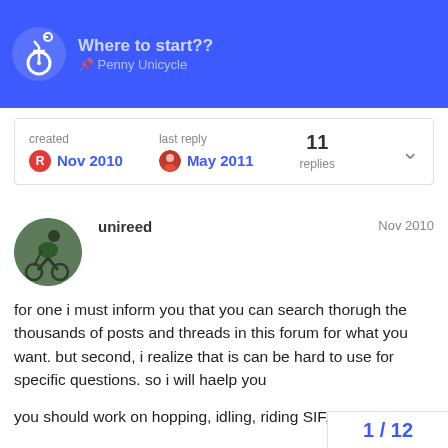Where to start?? | Penny Unicycle
created Nov 2010  last reply May 2011  11 replies
unireed  Nov 2010

for one i must inform you that you can search thorugh the thousands of posts and threads in this forum for what you want. but second, i realize that is can be hard to use for specific questions. so i will haelp you

you should work on hopping, idling, riding SIF, etc

what i did when i was at your level was check out the IUF skill levels. they gave me an idea as to what tricks i could do relative to my ability. here it is: http://www.unicycling.org/IUF/levels/
1 / 12